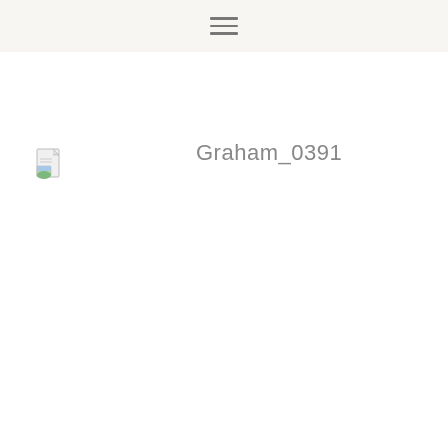[Figure (illustration): Small file/image icon with a document page and a small landscape thumbnail in the lower-left corner]
Graham_0391